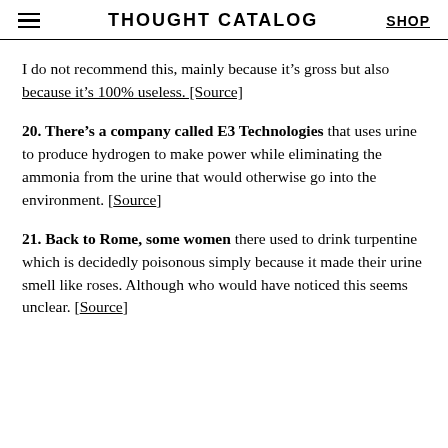THOUGHT CATALOG | SHOP
I do not recommend this, mainly because it’s gross but also because it’s 100% useless. [Source]
20. There’s a company called E3 Technologies that uses urine to produce hydrogen to make power while eliminating the ammonia from the urine that would otherwise go into the environment. [Source]
21. Back to Rome, some women there used to drink turpentine which is decidedly poisonous simply because it made their urine smell like roses. Although who would have noticed this seems unclear. [Source]